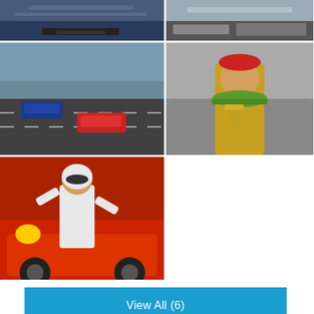[Figure (photo): Top-left photo: aerial view of racing stadium with crowds]
[Figure (photo): Top-right photo: race cars on track]
[Figure (photo): Middle-left photo: NASCAR race cars on track]
[Figure (photo): Middle-right photo: racing driver celebrating with wreath/garland trophy]
[Figure (photo): Bottom-left photo: Formula 1 driver celebrating in front of red Ferrari]
View All (6)
CONCORD, N.C. (AP) — The Latest on motorsport's busiest day (all times local):
11:18 p.m.
Martin Truex Jr. won the caution-filled Coca-Cola 600 at Charlotte Motor Speedway on Sunday, beating